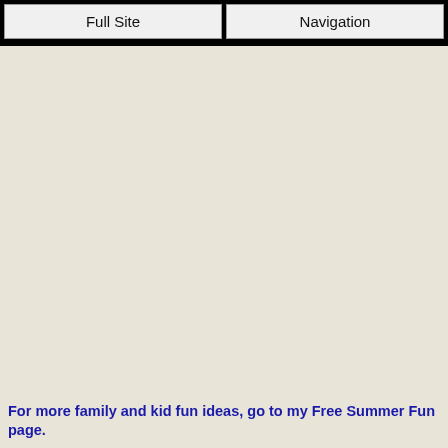Full Site | Navigation
For more family and kid fun ideas, go to my Free Summer Fun page.